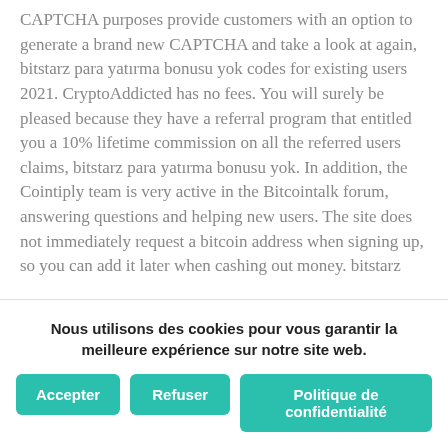CAPTCHA purposes provide customers with an option to generate a brand new CAPTCHA and take a look at again, bitstarz para yatırma bonusu yok codes for existing users 2021. CryptoAddicted has no fees. You will surely be pleased because they have a referral program that entitled you a 10% lifetime commission on all the referred users claims, bitstarz para yatırma bonusu yok. In addition, the Cointiply team is very active in the Bitcointalk forum, answering questions and helping new users. The site does not immediately request a bitcoin address when signing up, so you can add it later when cashing out money. bitstarz
Nous utilisons des cookies pour vous garantir la meilleure expérience sur notre site web.
Accepter
Refuser
Politique de confidentialité